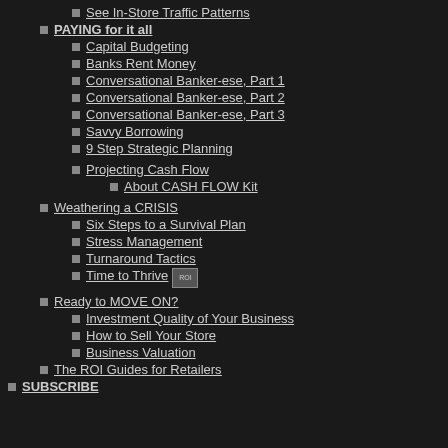See In-Store Traffic Patterns
PAYING for it all
Capital Budgeting
Banks Rent Money
Conversational Banker-ese, Part 1
Conversational Banker-ese, Part 2
Conversational Banker-ese, Part 3
Savvy Borrowing
9 Step Strategic Planning
Projecting Cash Flow
About CASH FLOW Kit
Weathering a CRISIS
Six Steps to a Survival Plan
Stress Management
Turnaround Tactics
Time to Thrive
Ready to MOVE ON?
Investment Quality of Your Business
How to Sell Your Store
Business Valuation
The ROI Guides for Retailers
SUBSCRIBE